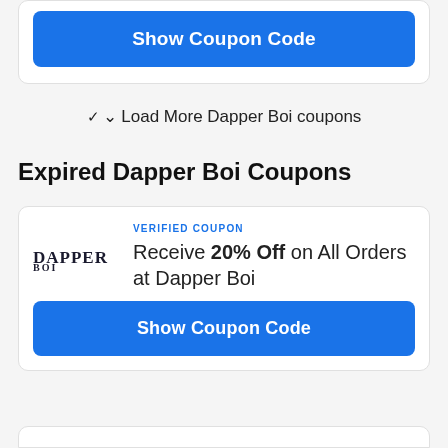Show Coupon Code
Load More Dapper Boi coupons
Expired Dapper Boi Coupons
VERIFIED COUPON
Receive 20% Off on All Orders at Dapper Boi
Show Coupon Code